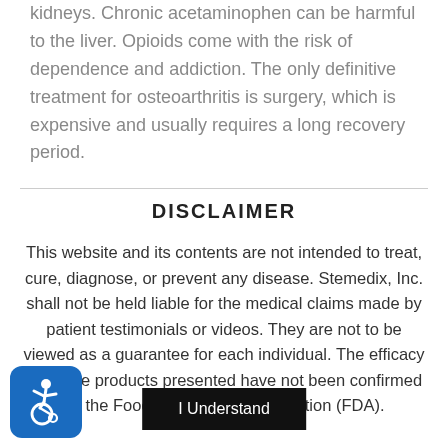kidneys. Chronic acetaminophen can be harmful to the liver. Opioids come with the risk of dependence and addiction. The only definitive treatment for osteoarthritis is surgery, which is expensive and usually requires a long recovery period.
DISCLAIMER
This website and its contents are not intended to treat, cure, diagnose, or prevent any disease. Stemedix, Inc. shall not be held liable for the medical claims made by patient testimonials or videos. They are not to be viewed as a guarantee for each individual. The efficacy for some products presented have not been confirmed by the Food and Drug Administration (FDA).
I Understand